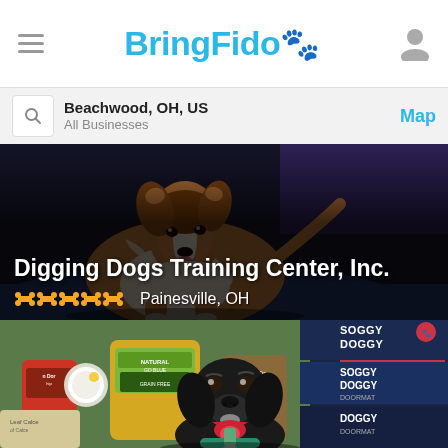BringFido
Beachwood, OH, US
All Businesses
Map
[Figure (photo): A Shetland sheepdog (Collie/Sheltie) sitting on a blue surface in a training environment, photographed from low angle]
Digging Dogs Training Center, Inc.
Painesville, OH
[Figure (photo): A black Labrador mix dog sitting in front of shelves of pet products including treats bags and Soggy Doggy doormats in a pet store setting]